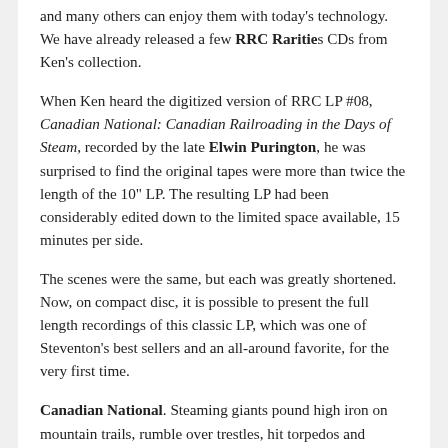and many others can enjoy them with today's technology. We have already released a few RRC Rarities CDs from Ken's collection.
When Ken heard the digitized version of RRC LP #08, Canadian National: Canadian Railroading in the Days of Steam, recorded by the late Elwin Purington, he was surprised to find the original tapes were more than twice the length of the 10" LP. The resulting LP had been considerably edited down to the limited space available, 15 minutes per side.
The scenes were the same, but each was greatly shortened. Now, on compact disc, it is possible to present the full length recordings of this classic LP, which was one of Steventon's best sellers and an all-around favorite, for the very first time.
Canadian National. Steaming giants pound high iron on mountain trails, rumble over trestles, hit torpedos and whistle for many road crossings. Mountain railroading with heavy power and lingering whistles! Includes locomotives 3566, 4301, 6013, 3560.